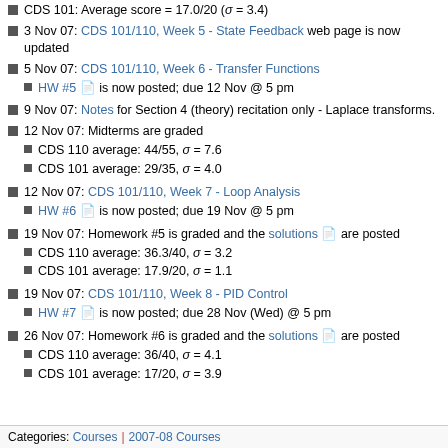CDS 101: Average score = 17.0/20 (σ = 3.4)
3 Nov 07: CDS 101/110, Week 5 - State Feedback web page is now updated
5 Nov 07: CDS 101/110, Week 6 - Transfer Functions
HW #5 is now posted; due 12 Nov @ 5 pm
9 Nov 07: Notes for Section 4 (theory) recitation only - Laplace transforms.
12 Nov 07: Midterms are graded
CDS 110 average: 44/55, σ = 7.6
CDS 101 average: 29/35, σ = 4.0
12 Nov 07: CDS 101/110, Week 7 - Loop Analysis
HW #6 is now posted; due 19 Nov @ 5 pm
19 Nov 07: Homework #5 is graded and the solutions are posted
CDS 110 average: 36.3/40, σ = 3.2
CDS 101 average: 17.9/20, σ = 1.1
19 Nov 07: CDS 101/110, Week 8 - PID Control
HW #7 is now posted; due 28 Nov (Wed) @ 5 pm
26 Nov 07: Homework #6 is graded and the solutions are posted
CDS 110 average: 36/40, σ = 4.1
CDS 101 average: 17/20, σ = 3.9
Categories: Courses | 2007-08 Courses